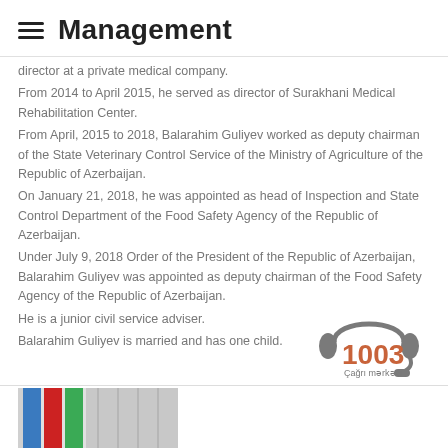Management
director at a private medical company.
From 2014 to April 2015, he served as director of Surakhani Medical Rehabilitation Center.
From April, 2015 to 2018, Balarahim Guliyev worked as deputy chairman of the State Veterinary Control Service of the Ministry of Agriculture of the Republic of Azerbaijan.
On January 21, 2018, he was appointed as head of Inspection and State Control Department of the Food Safety Agency of the Republic of Azerbaijan.
Under July 9, 2018 Order of the President of the Republic of Azerbaijan, Balarahim Guliyev was appointed as deputy chairman of the Food Safety Agency of the Republic of Azerbaijan.
He is a junior civil service adviser.
Balarahim Guliyev is married and has one child.
[Figure (logo): Headset icon with '1003 Çağrı mərkəzi' (call center) logo in grey and orange]
[Figure (photo): Photo showing flags partially visible at the bottom left of the page]